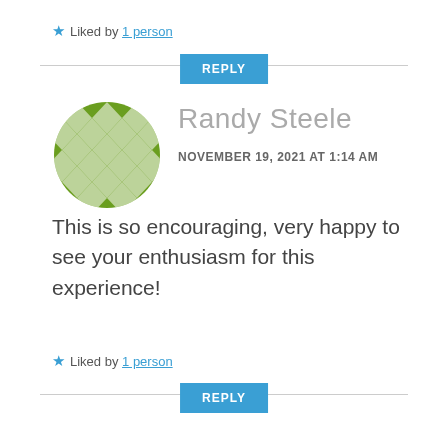★ Liked by 1 person
REPLY
[Figure (illustration): Green geometric mosaic circle avatar for user Randy Steele]
Randy Steele
NOVEMBER 19, 2021 AT 1:14 AM
This is so encouraging, very happy to see your enthusiasm for this experience!
★ Liked by 1 person
REPLY